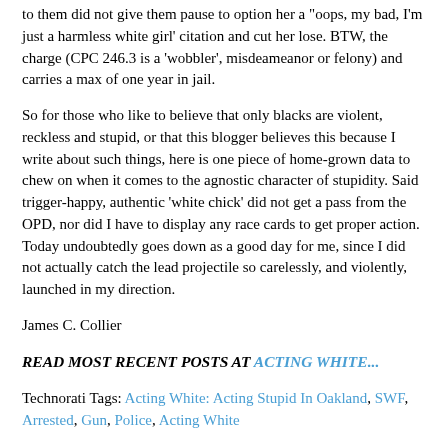to them did not give them pause to option her a "oops, my bad, I'm just a harmless white girl' citation and cut her lose. BTW, the charge (CPC 246.3 is a 'wobbler', misdeameanor or felony) and carries a max of one year in jail.
So for those who like to believe that only blacks are violent, reckless and stupid, or that this blogger believes this because I write about such things, here is one piece of home-grown data to chew on when it comes to the agnostic character of stupidity. Said trigger-happy, authentic 'white chick' did not get a pass from the OPD, nor did I have to display any race cards to get proper action. Today undoubtedly goes down as a good day for me, since I did not actually catch the lead projectile so carelessly, and violently, launched in my direction.
James C. Collier
READ MOST RECENT POSTS AT ACTING WHITE...
Technorati Tags: Acting White: Acting Stupid In Oakland, SWF, Arrested, Gun, Police, Acting White